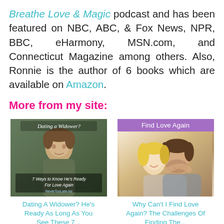Breathe Love & Magic podcast and has been featured on NBC, ABC, & Fox News, NPR, BBC, eHarmony, MSN.com, and Connecticut Magazine among others. Also, Ronnie is the author of 6 books which are available on Amazon.
More from my site:
[Figure (photo): Book/podcast cover image showing a man's face with text 'Dating a Widower?' at the top and '7 Ways to Know He's Ready For Love Again' at the bottom]
[Figure (photo): Image with purple banner 'Find Love Again' at top and a smiling couple embracing below]
Dating A Widower? He's Ready As Long As You See These 7...
Why Can't I Find Love Again? The Challenges Of Finding The...